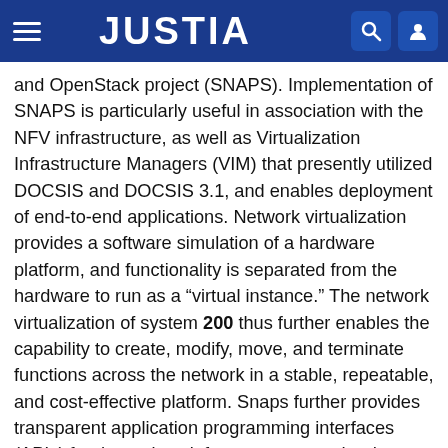JUSTIA
and OpenStack project (SNAPS). Implementation of SNAPS is particularly useful in association with the NFV infrastructure, as well as Virtualization Infrastructure Managers (VIM) that presently utilized DOCSIS and DOCSIS 3.1, and enables deployment of end-to-end applications. Network virtualization provides a software simulation of a hardware platform, and functionality is separated from the hardware to run as a “virtual instance.” The network virtualization of system 200 thus further enables the capability to create, modify, move, and terminate functions across the network in a stable, repeatable, and cost-effective platform. Snaps further provides transparent application programming interfaces (APIs) for the various infrastructures, and reduces complexity of integration testing. In at least one embodiment, application infrastructure 216 utilizes a